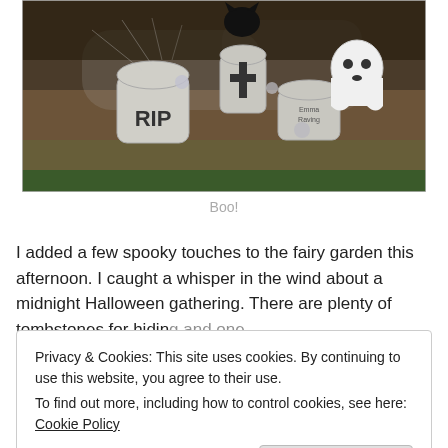[Figure (photo): Halloween fairy garden scene with miniature RIP tombstones, a ghost figurine, black cat, and cobwebs on moss and dried plant material]
Boo!
I added a few spooky touches to the fairy garden this afternoon. I caught a whisper in the wind about a midnight Halloween gathering. There are plenty of tombstones for hiding and one...
Privacy & Cookies: This site uses cookies. By continuing to use this website, you agree to their use.
To find out more, including how to control cookies, see here: Cookie Policy
[Close and accept]
No Candy Countdown: